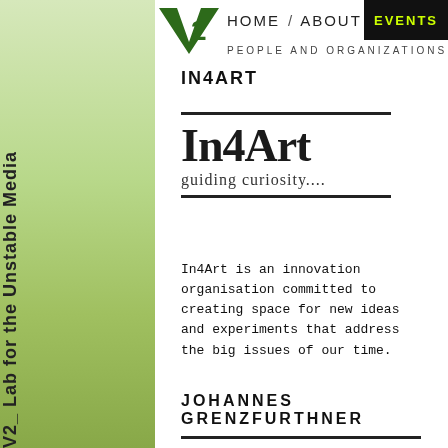HOME / ABOUT  EVENTS
PEOPLE AND ORGANIZATIONS
[Figure (logo): V2_ Lab for the Unstable Media vertical sidebar logo with green gradient background]
[Figure (logo): In4Art logo with tagline 'guiding curiosity....' between two horizontal rules]
IN4ART
In4Art is an innovation organisation committed to creating space for new ideas and experiments that address the big issues of our time.
JOHANNES  GRENZFURTHNER